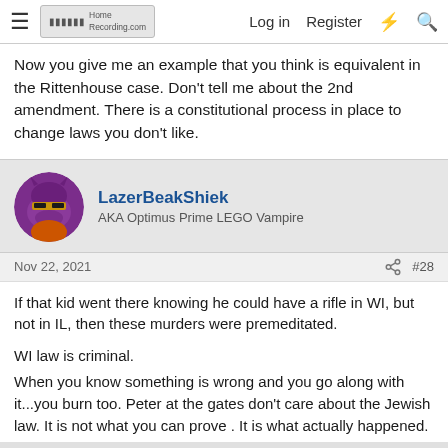HomeRecording.com — Log in  Register
Now you give me an example that you think is equivalent in the Rittenhouse case. Don't tell me about the 2nd amendment. There is a constitutional process in place to change laws you don't like.
LazerBeakShiek
AKA Optimus Prime LEGO Vampire
Nov 22, 2021  #28
If that kid went there knowing he could have a rifle in WI, but not in IL, then these murders were premeditated.

WI law is criminal.
When you know something is wrong and you go along with it...you burn too. Peter at the gates don't care about the Jewish law. It is not what you can prove . It is what actually happened.